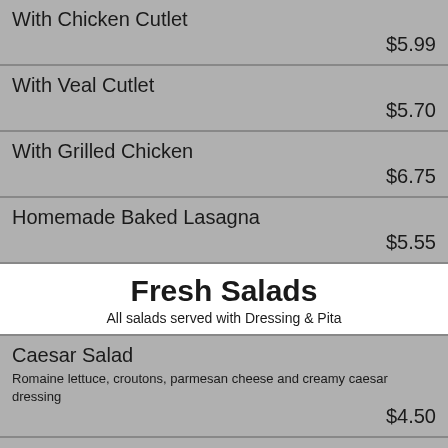With Chicken Cutlet $5.99
With Veal Cutlet $5.70
With Grilled Chicken $6.75
Homemade Baked Lasagna $5.55
Fresh Salads
All salads served with Dressing & Pita
Caesar Salad - Romaine lettuce, croutons, parmesan cheese and creamy caesar dressing $4.50
Chicken Caesar Salad - Romaine lettuce, croutons, parmesan cheese, grilled chicken adn creamy caesar dressing